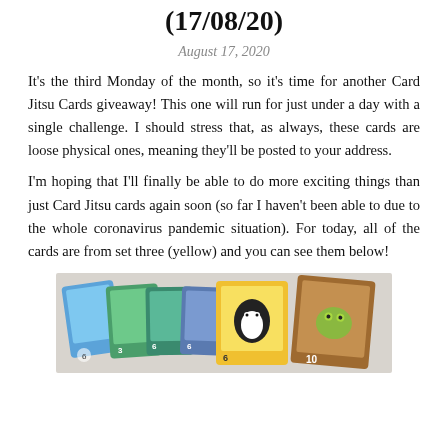(17/08/20)
August 17, 2020
It's the third Monday of the month, so it's time for another Card Jitsu Cards giveaway! This one will run for just under a day with a single challenge. I should stress that, as always, these cards are loose physical ones, meaning they'll be posted to your address.
I'm hoping that I'll finally be able to do more exciting things than just Card Jitsu cards again soon (so far I haven't been able to due to the whole coronavirus pandemic situation). For today, all of the cards are from set three (yellow) and you can see them below!
[Figure (photo): A photograph of multiple Card Jitsu cards spread out, showing colorful cards including blue, green, yellow, and brown cards with various characters and numbers.]